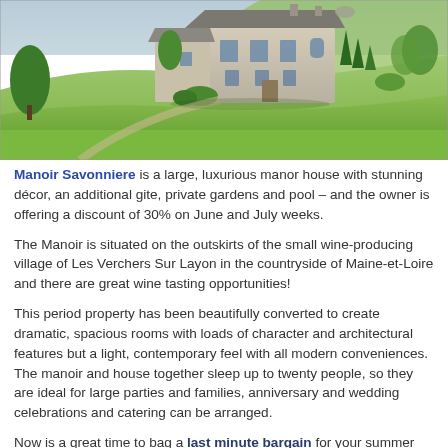[Figure (photo): Exterior photo of Manoir Savonniere, a large stone manor house on a hillside surrounded by green lawns, trees and gardens]
Manoir Savonniere is a large, luxurious manor house with stunning décor, an additional gite, private gardens and pool – and the owner is offering a discount of 30% on June and July weeks.
The Manoir is situated on the outskirts of the small wine-producing village of Les Verchers Sur Layon in the countryside of Maine-et-Loire and there are great wine tasting opportunities!
This period property has been beautifully converted to create dramatic, spacious rooms with loads of character and architectural features but a light, contemporary feel with all modern conveniences.  The manoir and house together sleep up to twenty people, so they are ideal for large parties and families, anniversary and wedding celebrations and catering can be arranged.
Now is a great time to bag a last minute bargain for your summer holiday in France as our owners in lots of locations are making special offers discounts and late bookings on some great properties.